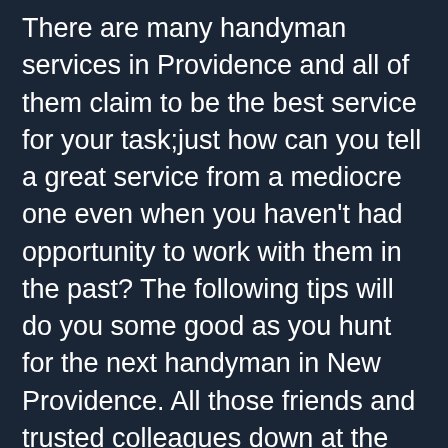There are many handyman services in Providence and all of them claim to be the best service for your task;just how can you tell a great service from a mediocre one even when you haven't had opportunity to work with them in the past? The following tips will do you some good as you hunt for the next handyman in New Providence. All those friends and trusted colleagues down at the office are not there for nothing;consider asking them for references. It is highly probable that a service that your friend was happy with will also handle your project just right. Don't ignore the Internet;it is one of best goldmines ever. Visit legit websites on home renovations in Providence and pay close attention to the reviews left there by people who have been served in the past by the prospective handyman. Use your gut to choose two or three of them and note down their contacts. Call them and ask them questions relating to the number of years they have been doing their thing and don't forget to ask them for contacts of people they